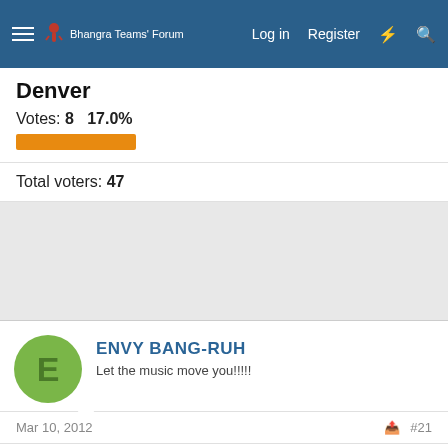Bhangra Teams' Forum  Log in  Register
Denver
Votes: 8   17.0%
Total voters: 47
[Figure (other): Ad/banner placeholder area (gray background)]
ENVY BANG-RUH
Let the music move you!!!!!
Mar 10, 2012   #21
AnkurK said:
karanmand said:
RG3 to DC....feel bad for all the gayints,cowgirls and the bitcheagles fans